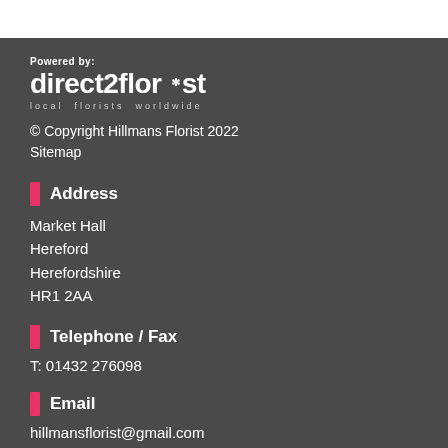[Figure (logo): direct2florist logo with 'Powered by:' label and 'local florists worldwide' tagline]
© Copyright Hillmans Florist 2022
Sitemap
Address
Market Hall
Hereford
Herefordshire
HR1 2AA
Telephone / Fax
T: 01432 276098
Email
hillmansflorist@gmail.com